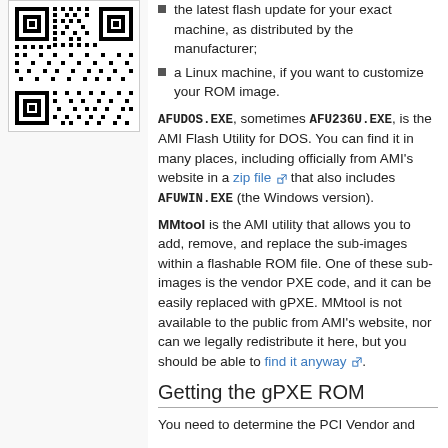[Figure (other): QR code image in top-left column]
the latest flash update for your exact machine, as distributed by the manufacturer;
a Linux machine, if you want to customize your ROM image.
AFUDOS.EXE, sometimes AFU236U.EXE, is the AMI Flash Utility for DOS. You can find it in many places, including officially from AMI's website in a zip file that also includes AFUWIN.EXE (the Windows version).
MMtool is the AMI utility that allows you to add, remove, and replace the sub-images within a flashable ROM file. One of these sub-images is the vendor PXE code, and it can be easily replaced with gPXE. MMtool is not available to the public from AMI's website, nor can we legally redistribute it here, but you should be able to find it anyway.
Getting the gPXE ROM
You need to determine the PCI Vendor and